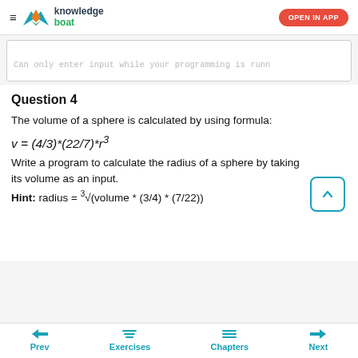knowledge boat | OPEN IN APP
Can only enter input while your programming is runn
Question 4
The volume of a sphere is calculated by using formula:
Write a program to calculate the radius of a sphere by taking its volume as an input. Hint: radius = ∛(volume * (3/4) * (7/22))
Prev  Exercises  Chapters  Next